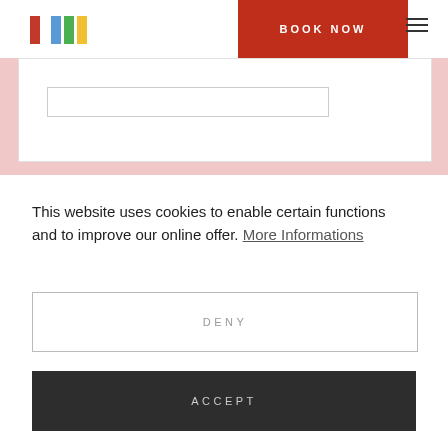[Figure (screenshot): Website navigation bar with colorful logo (red, blue, green, yellow rectangles), a red 'BOOK NOW' button, and hamburger menu icon. Below is a pink hero section with a white card containing a search bar.]
This website uses cookies to enable certain functions and to improve our online offer. More Informations
DENY
ACCEPT